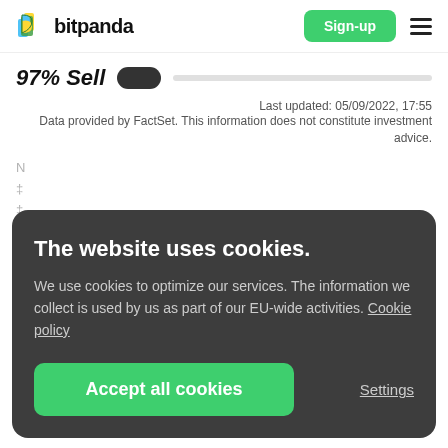bitpanda — Sign-up [navigation bar]
97% Sell [toggle]
Last updated: 05/09/2022, 17:55
Data provided by FactSet. This information does not constitute investment advice.
The website uses cookies.
We use cookies to optimize our services. The information we collect is used by us as part of our EU-wide activities. Cookie policy
Accept all cookies
Settings